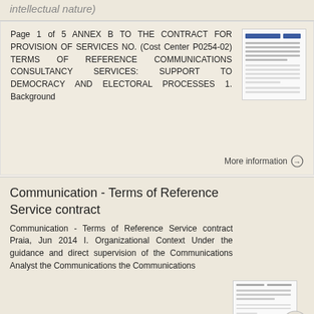intellectual nature)
Page 1 of 5 ANNEX B TO THE CONTRACT FOR PROVISION OF SERVICES NO. (Cost Center P0254-02) TERMS OF REFERENCE COMMUNICATIONS CONSULTANCY SERVICES: SUPPORT TO DEMOCRACY AND ELECTORAL PROCESSES 1. Background
More information →
Communication - Terms of Reference Service contract
Communication - Terms of Reference Service contract Praia, Jun 2014 I. Organizational Context Under the guidance and direct supervision of the Communications Analyst the Communications the Communications
More information →